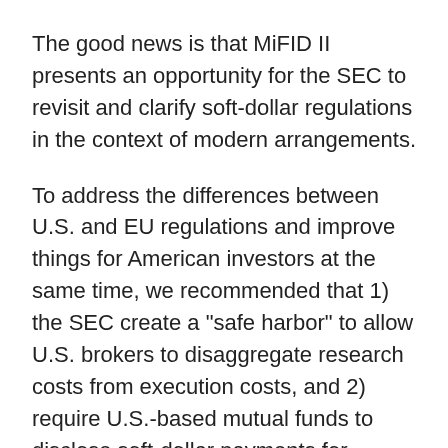The good news is that MiFID II presents an opportunity for the SEC to revisit and clarify soft-dollar regulations in the context of modern arrangements.
To address the differences between U.S. and EU regulations and improve things for American investors at the same time, we recommended that 1) the SEC create a "safe harbor" to allow U.S. brokers to disaggregate research costs from execution costs, and 2) require U.S.-based mutual funds to disclose soft-dollar payments for research in the Statement of Additional Information as a percentage cost.
These two steps would harmonize the U.S. system with MiFID II and allow asset managers with clients in the European Union to more easily comply with the European